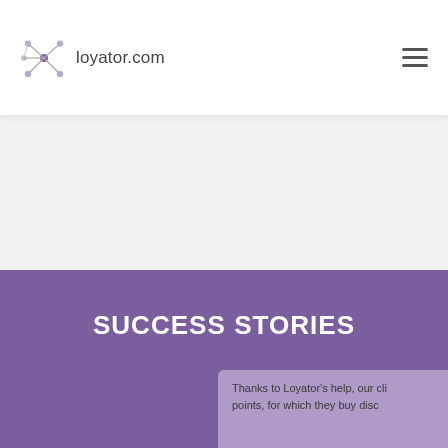loyator.com
SUCCESS STORIES
Thanks to Loyator's help, our cli... points, for which they buy disc...